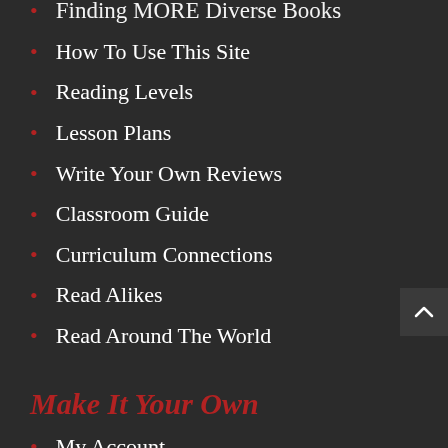Finding MORE Diverse Books
How To Use This Site
Reading Levels
Lesson Plans
Write Your Own Reviews
Classroom Guide
Curriculum Connections
Read Alikes
Read Around The World
Make It Your Own
My Account
My Favorites